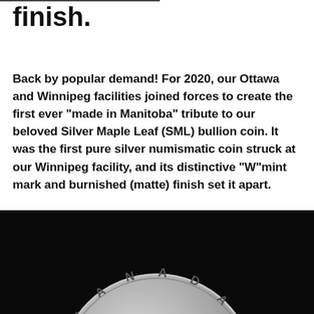finish.
Back by popular demand! For 2020, our Ottawa and Winnipeg facilities joined forces to create the first ever "made in Manitoba" tribute to our beloved Silver Maple Leaf (SML) bullion coin. It was the first pure silver numismatic coin struck at our Winnipeg facility, and its distinctive "W"mint mark and burnished (matte) finish set it apart.
READ MORE
[Figure (photo): Close-up photo of a silver Canadian coin (Silver Maple Leaf) seen from above against a dark/black background, showing the top portion of the coin with 'CANADA' text visible in raised lettering around the rim.]